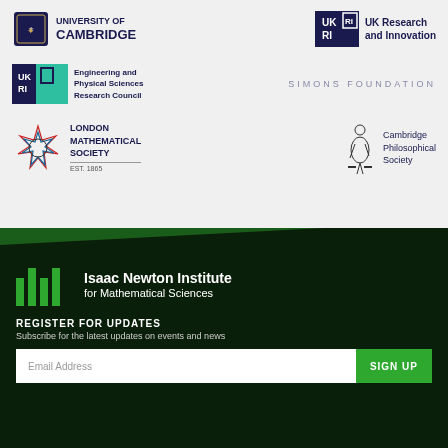[Figure (logo): University of Cambridge logo with shield and text]
[Figure (logo): UK Research and Innovation (UKRI) logo]
[Figure (logo): UKRI Engineering and Physical Sciences Research Council (EPSRC) logo]
SIMONS FOUNDATION
[Figure (logo): London Mathematical Society logo with geometric star design, EST. 1865]
[Figure (logo): Cambridge Philosophical Society logo with figure statue]
[Figure (logo): Isaac Newton Institute for Mathematical Sciences logo with green bars]
REGISTER FOR UPDATES
Subscribe for the latest updates on events and news
Email Address
SIGN UP